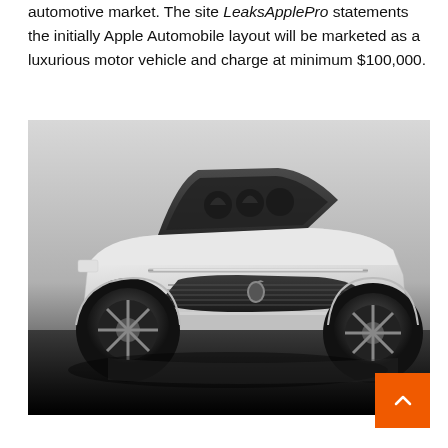automotive market. The site LeaksApplePro statements the initially Apple Automobile layout will be marketed as a luxurious motor vehicle and charge at minimum $100,000.
[Figure (photo): Front three-quarter view of a white Apple Car concept model with an Apple logo on the front grille, large dark wheels, panoramic roof, and a dark reflective surface underneath.]